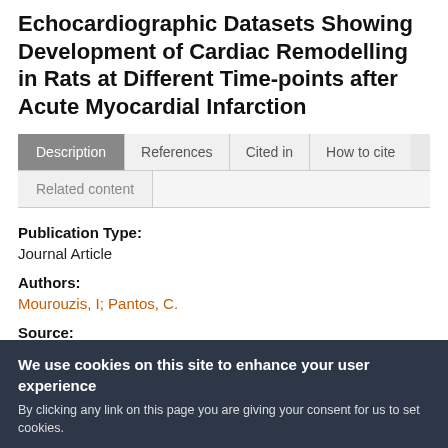Echocardiographic Datasets Showing Development of Cardiac Remodelling in Rats at Different Time-points after Acute Myocardial Infarction
Description | References | Cited in | How to cite
Related content
Publication Type:
Journal Article
Authors:
Mourouzis, I; Pantos, C.
Source:
We use cookies on this site to enhance your user experience
By clicking any link on this page you are giving your consent for us to set cookies.